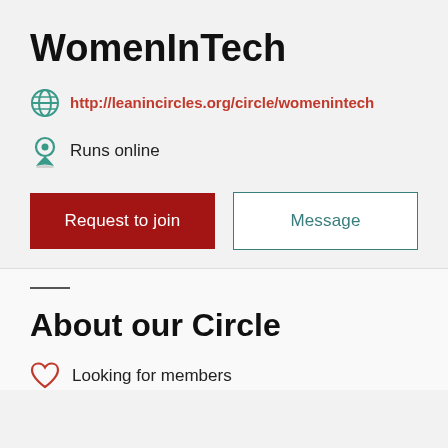WomenInTech
http://leanincircles.org/circle/womenintech
Runs online
Request to join
Message
About our Circle
Looking for members